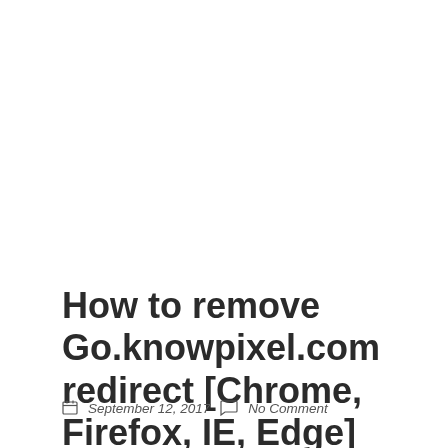How to remove Go.knowpixel.com redirect [Chrome, Firefox, IE, Edge]
September 12, 2017   No Comment